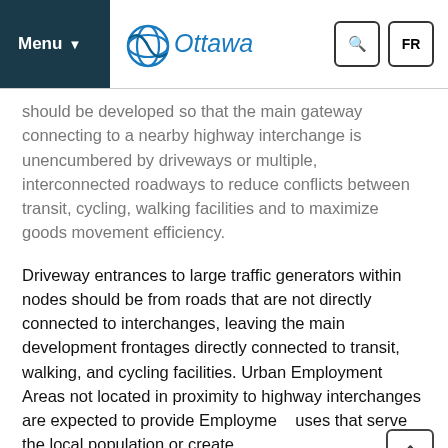Menu | Ottawa | Search | FR
should be developed so that the main gateway connecting to a nearby highway interchange is unencumbered by driveways or multiple, interconnected roadways to reduce conflicts between transit, cycling, walking facilities and to maximize goods movement efficiency.
Driveway entrances to large traffic generators within nodes should be from roads that are not directly connected to interchanges, leaving the main development frontages directly connected to transit, walking, and cycling facilities. Urban Employment Areas not located in proximity to highway interchanges are expected to provide Employment uses that serve the local population or create